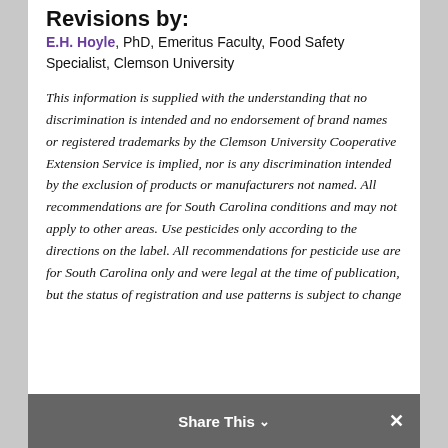Revisions by:
E.H. Hoyle, PhD, Emeritus Faculty, Food Safety Specialist, Clemson University
This information is supplied with the understanding that no discrimination is intended and no endorsement of brand names or registered trademarks by the Clemson University Cooperative Extension Service is implied, nor is any discrimination intended by the exclusion of products or manufacturers not named. All recommendations are for South Carolina conditions and may not apply to other areas. Use pesticides only according to the directions on the label. All recommendations for pesticide use are for South Carolina only and were legal at the time of publication, but the status of registration and use patterns is subject to change